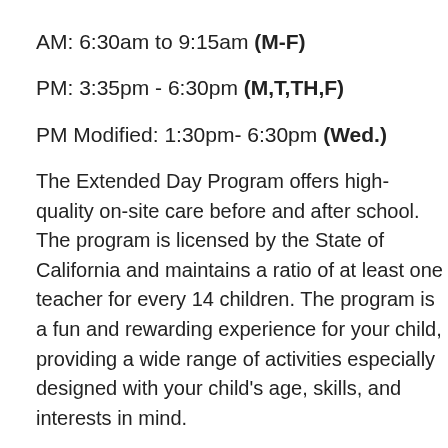AM: 6:30am to 9:15am (M-F)
PM: 3:35pm - 6:30pm (M,T,TH,F)
PM Modified: 1:30pm- 6:30pm (Wed.)
The Extended Day Program offers high-quality on-site care before and after school. The program is licensed by the State of California and maintains a ratio of at least one teacher for every 14 children. The program is a fun and rewarding experience for your child, providing a wide range of activities especially designed with your child's age, skills, and interests in mind.
Fees are established to cover the cost of the program. For more information and to register for